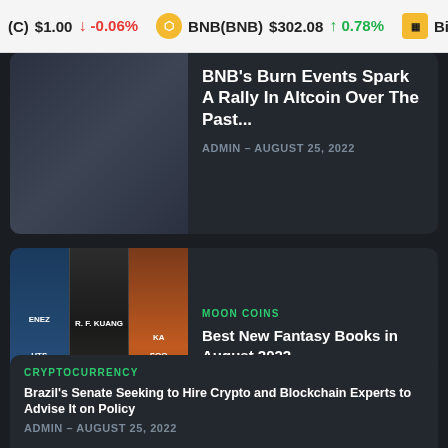(C) $1.00 ↓ -0.06%  BNB(BNB) $302.08 ↑ 0.78%  Bina
[Figure (screenshot): Partially visible article card at top with blurred image on left and article title 'BNBs Burn Events Spark A Rally In Altcoin Over The Past...' with meta 'ADMIN - AUGUST 25, 2022']
BNB's Burn Events Spark A Rally In Altcoin Over The Past
ADMIN - AUGUST 25, 2022
[Figure (illustration): Three fantasy book covers shown side by side: left book (blue tones), center book 'Babel' by R.F. Kuang, right book (orange/golden tones)]
MOON COINS
Best New Fantasy Books in August 2022
ADMIN - AUGUST 25, 2022
CRYPTOCURRENCY
Brazil's Senate Seeking to Hire Crypto and Blockchain Experts to Advise It on Policy
ADMIN - AUGUST 25, 2022